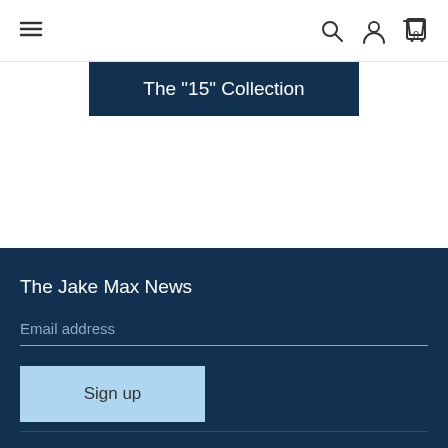Navigation bar with hamburger menu, search, account, and cart icons
The "15" Collection
The Jake Max News
Email address
Sign up